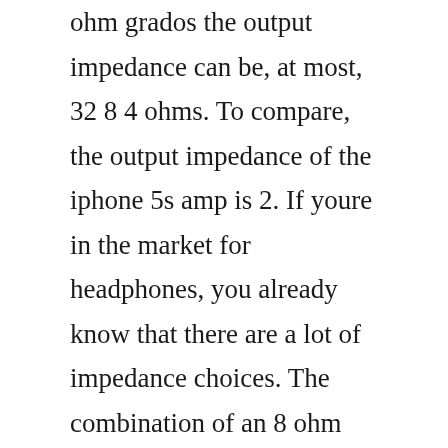ohm grados the output impedance can be, at most, 32 8 4 ohms. To compare, the output impedance of the iphone 5s amp is 2. If youre in the market for headphones, you already know that there are a lot of impedance choices. The combination of an 8 ohm output impedance into a 300 ohm headset is inefficient, which manifests itself as a reduction in audio power. Measurements report apple iphone 5s test and graphs reference. Likely that is what is happening with the 4 8 ohms speaker. What that means is mainly that the 150 ohm impedance is only